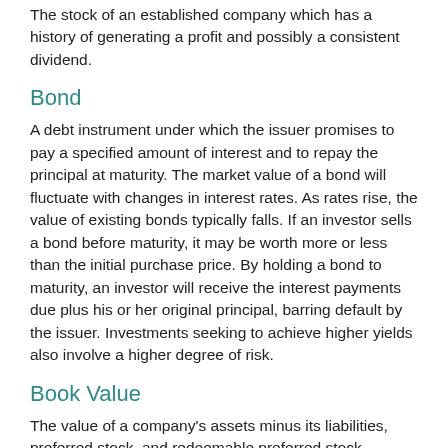The stock of an established company which has a history of generating a profit and possibly a consistent dividend.
Bond
A debt instrument under which the issuer promises to pay a specified amount of interest and to repay the principal at maturity. The market value of a bond will fluctuate with changes in interest rates. As rates rise, the value of existing bonds typically falls. If an investor sells a bond before maturity, it may be worth more or less than the initial purchase price. By holding a bond to maturity, an investor will receive the interest payments due plus his or her original principal, barring default by the issuer. Investments seeking to achieve higher yields also involve a higher degree of risk.
Book Value
The value of a company's assets minus its liabilities, preferred stock, and redeemable preferred stock.